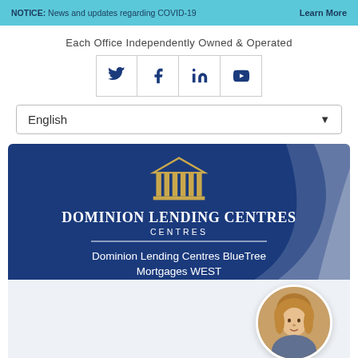NOTICE: News and updates regarding COVID-19   Learn More
Each Office Independently Owned & Operated
[Figure (other): Social media icons row: Twitter, Facebook, LinkedIn, YouTube]
[Figure (other): Language selector dropdown showing English]
[Figure (logo): Dominion Lending Centres logo with pillars icon, text Dominion Lending Centres BlueTree Mortgages WEST on dark blue banner with white wave]
[Figure (photo): Circular profile photo of a woman with blonde/light brown hair]